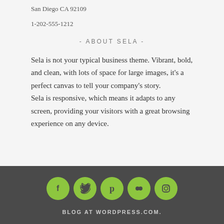San Diego CA 92109
1-202-555-1212
- ABOUT SELA -
Sela is not your typical business theme. Vibrant, bold, and clean, with lots of space for large images, it's a perfect canvas to tell your company's story.
Sela is responsive, which means it adapts to any screen, providing your visitors with a great browsing experience on any device.
[Figure (infographic): Five green circular social media icons: Facebook (f), Twitter (bird), Pinterest (p), Flickr (two circles), Instagram (camera)]
BLOG AT WORDPRESS.COM.